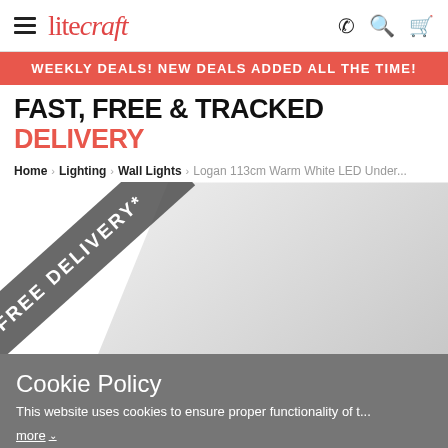litecraft — navigation bar with hamburger menu, logo, phone, search, cart icons
WEEKLY DEALS! NEW DEALS ADDED ALL THE TIME!
FAST, FREE & TRACKED DELIVERY
Home > Lighting > Wall Lights > Logan 113cm Warm White LED Under...
[Figure (photo): Product image area with a 'FREE DELIVERY*' diagonal ribbon banner overlaid on a product photo (partially visible lighting product on grey/white background)]
Cookie Policy
This website uses cookies to ensure proper functionality of t...
more
Accept Cookies   Close